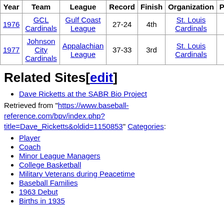| Year | Team | League | Record | Finish | Organization | Pla... |
| --- | --- | --- | --- | --- | --- | --- |
| 1976 | GCL Cardinals | Gulf Coast League | 27-24 | 4th | St. Louis Cardinals |  |
| 1977 | Johnson City Cardinals | Appalachian League | 37-33 | 3rd | St. Louis Cardinals |  |
Related Sites[edit]
Dave Ricketts at the SABR Bio Project
Retrieved from "https://www.baseball-reference.com/bpv/index.php?title=Dave_Ricketts&oldid=1150853" Categories:
Player
Coach
Minor League Managers
College Basketball
Military Veterans during Peacetime
Baseball Families
1963 Debut
Births in 1935